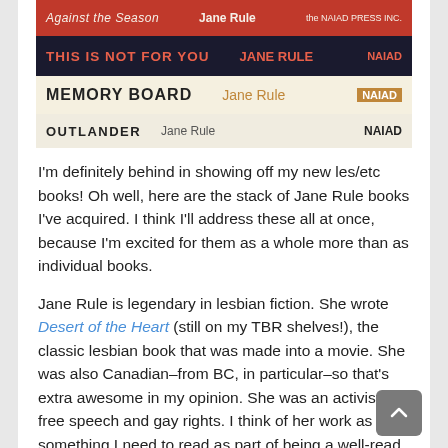[Figure (photo): Stack of Jane Rule books showing their spines: Against the Season, This Is Not For You, Memory Board, and Outlander, all published by NAIAD Press.]
I'm definitely behind in showing off my new les/etc books! Oh well, here are the stack of Jane Rule books I've acquired. I think I'll address these all at once, because I'm excited for them as a whole more than as individual books.
Jane Rule is legendary in lesbian fiction. She wrote Desert of the Heart (still on my TBR shelves!), the classic lesbian book that was made into a movie. She was also Canadian–from BC, in particular–so that's extra awesome in my opinion. She was an activist for free speech and gay rights. I think of her work as something I need to read as part of being a well-read lesbian.